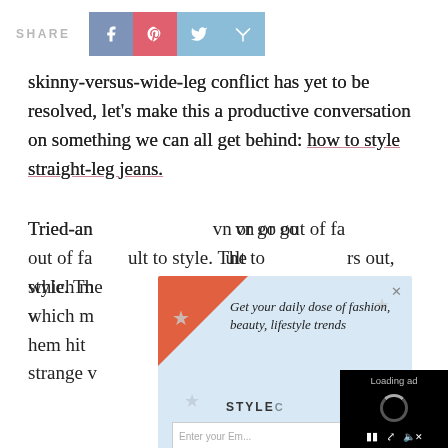SHARE [social icons: Facebook, Pinterest, Twitter, Tumblr]
skinny-versus-wide-leg conflict has yet to be resolved, let's make this a productive conversation on something we can all get behind: how to style straight-leg jeans.
Tried-an[d-true, straight-leg jeans will never go out of style. They've had their moments in and out of fashion which makes them pretty versatile—but difficult to style. The cut is a bit different from the skinnies and flares out, which means you can't always just roll up the hem hit at the right spot. And sometimes they have a strange v[...]
[Figure (screenshot): Newsletter signup popup overlay with light blue background, decorative stars, italic text reading 'Get your daily dose of fashion, beauty, lifestyle trends', a STYLE logo, and an email input field. Overlapping with a black video ad player showing 'Loading ad' and a loading spinner with pause, expand, and mute controls.]
In order [to wear straight-leg jeans well, you need to] reframe [the way you think about them. Your jeans] are a part of your outfit, not the outfit themselves. When styling them up, layers and accessories are key to nailing a straight-leg look.
-->